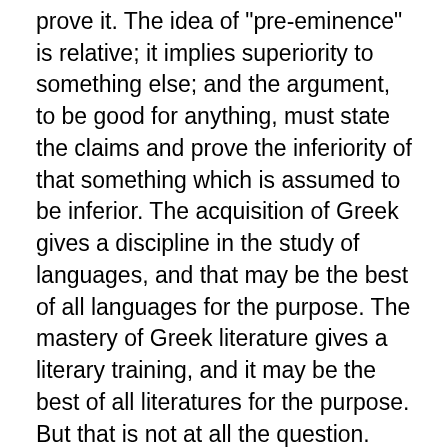prove it. The idea of "pre-eminence" is relative; it implies superiority to something else; and the argument, to be good for anything, must state the claims and prove the inferiority of that something which is assumed to be inferior. The acquisition of Greek gives a discipline in the study of languages, and that may be the best of all languages for the purpose. The mastery of Greek literature gives a literary training, and it may be the best of all literatures for the purpose. But that is not at all the question. The question is as to the "pre-eminence" of language and literary discipline over any other kind of discipline. The real issue, the issue that has arisen in modern times, is between language and literature on the one hand and science-studies on the other, as instruments of mental development. This essential issue Professor Price does not take up. He does not even recognize the existence of such a thing as a mental discipline gained by the study of science, and that is why he does not